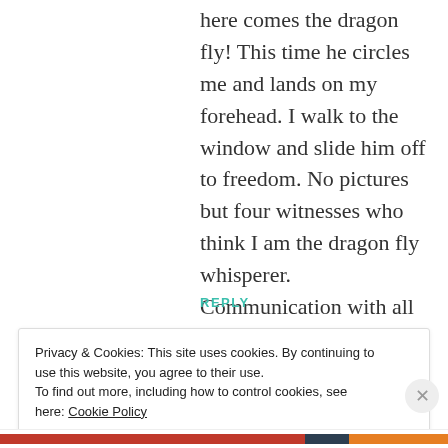here comes the dragon fly! This time he circles me and lands on my forehead. I walk to the window and slide him off to freedom. No pictures but four witnesses who think I am the dragon fly whisperer. Communication with all living creatures is not only possible , it's impossible not to do.
REPLY
Privacy & Cookies: This site uses cookies. By continuing to use this website, you agree to their use. To find out more, including how to control cookies, see here: Cookie Policy
Close and accept